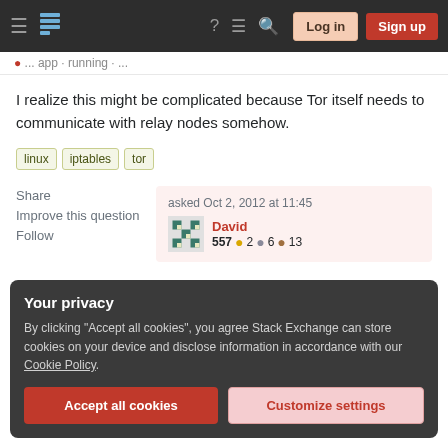Stack Exchange navigation bar with Log in and Sign up buttons
I realize this might be complicated because Tor itself needs to communicate with relay nodes somehow.
linux  iptables  tor
Share
Improve this question
Follow
asked Oct 2, 2012 at 11:45
David
557 ●2 ●6 ●13
Your privacy
By clicking "Accept all cookies", you agree Stack Exchange can store cookies on your device and disclose information in accordance with our Cookie Policy.
Accept all cookies  Customize settings